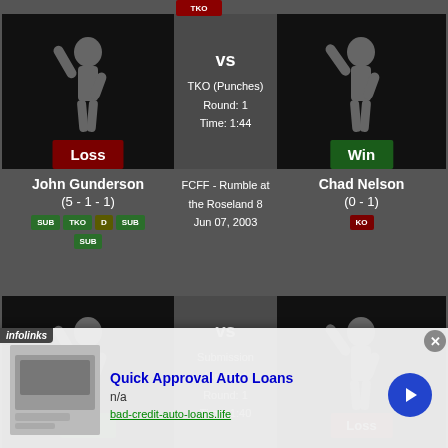[Figure (screenshot): MMA fight record page showing matchups between fighters with results, methods, events, and dates]
TKO
vs
TKO (Punches)
Round: 1
Time: 1:44
[Figure (photo): Fighter silhouette with Loss badge - John Gunderson]
[Figure (photo): Fighter silhouette with Win badge - Chad Nelson]
John Gunderson
(5 - 1 - 1)
FCFF - Rumble at the Roseland 8
Jun 07, 2003
Chad Nelson
(0 - 1)
SUB TKO D SUB SUB
KO
vs
Submission (Armbar)
Round: 1
Time: 1:40
[Figure (photo): Fighter silhouette with Win badge]
[Figure (photo): Fighter silhouette with Loss badge]
Quick Approval Auto Loans
n/a
bad-credit-auto-loans.life